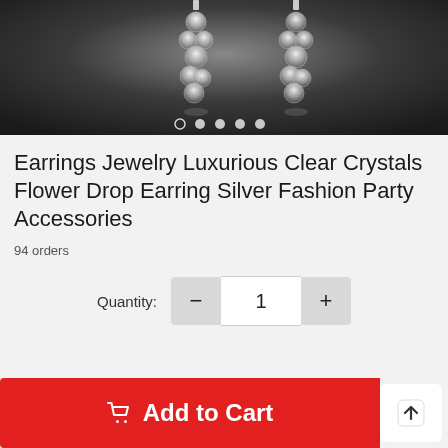[Figure (photo): Product image showing crystal drop earrings on a dark gradient background with image carousel navigation dots]
Earrings Jewelry Luxurious Clear Crystals Flower Drop Earring Silver Fashion Party Accessories
94 orders
Quantity: 1
Add to Cart